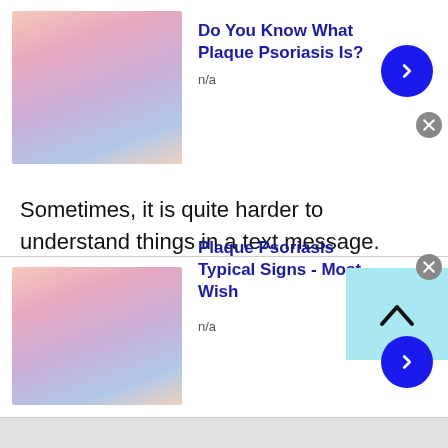[Figure (illustration): Thumbnail image showing skin with psoriasis plaque condition]
Do You Know What Plaque Psoriasis Is?
n/a
Sometimes, it is quite harder to understand things in a text message. People will perceive things in the wrong way that would create confusion and misunderstandings. So, to get rid of misunderstandings and confusion, it is always suggested to go with a voice message. With the help of using random voice chat, you can better convey your message. Because the other person can hear you clearly and of course, understand what you are trying to say.
[Figure (illustration): Thumbnail image showing skin with psoriasis plaque condition]
Plaque Psoriasis Typical Signs - Most Wish
n/a